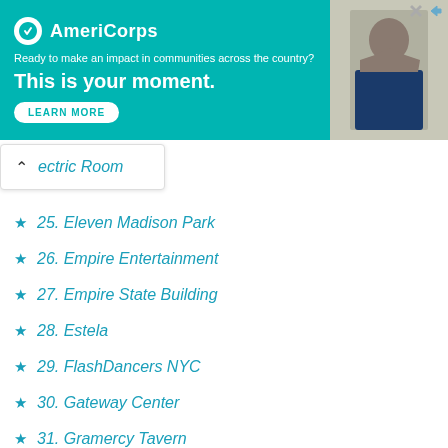[Figure (other): AmeriCorps advertisement banner with teal background. Logo with white circle and AmeriCorps text. Text: 'Ready to make an impact in communities across the country? This is your moment.' with LEARN MORE button. Photo of person on right side.]
ectric Room
25. Eleven Madison Park
26. Empire Entertainment
27. Empire State Building
28. Estela
29. FlashDancers NYC
30. Gateway Center
31. Gramercy Tavern
32. Grand Central Terminal
33. Great Jones Spa
34. Guerlain Spa